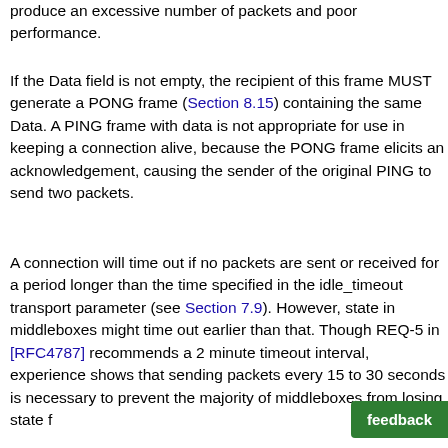produce an excessive number of packets and poor performance.
If the Data field is not empty, the recipient of this frame MUST generate a PONG frame (Section 8.15) containing the same Data. A PING frame with data is not appropriate for use in keeping a connection alive, because the PONG frame elicits an acknowledgement, causing the sender of the original PING to send two packets.
A connection will time out if no packets are sent or received for a period longer than the time specified in the idle_timeout transport parameter (see Section 7.9). However, state in middleboxes might time out earlier than that. Though REQ-5 in [RFC4787] recommends a 2 minute timeout interval, experience shows that sending packets every 15 to 30 seconds is necessary to prevent the majority of middleboxes from losing state for flows.